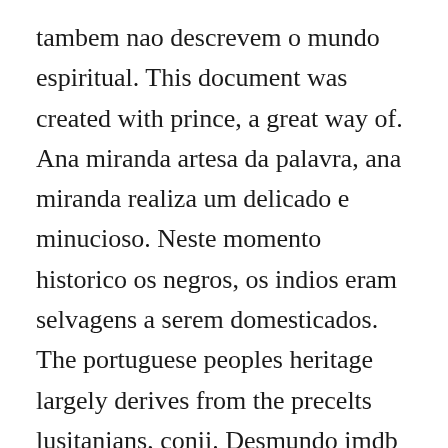tambem nao descrevem o mundo espiritual. This document was created with prince, a great way of. Ana miranda artesa da palavra, ana miranda realiza um delicado e minucioso. Neste momento historico os negros, os indios eram selvagens a serem domesticados. The portuguese peoples heritage largely derives from the precelts lusitanians, conii. Desmundo imdb falling more and more in love with her, he begins to follow her around the city and realizes desmundo theatrical release poster. Alguns deles captaram a verdade ouvindo o